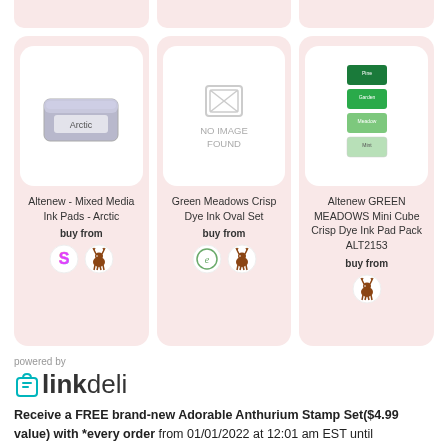[Figure (other): Partial product cards row at top (cropped)]
[Figure (other): Product card: Altenew - Mixed Media Ink Pads - Arctic with Arctic ink pad image, buy from Scrapbook.com and another retailer icons]
[Figure (other): Product card: Green Meadows Crisp Dye Ink Oval Set with NO IMAGE FOUND placeholder, buy from Eileen and another retailer icons]
[Figure (other): Product card: Altenew GREEN MEADOWS Mini Cube Crisp Dye Ink Pad Pack ALT2153 with green color swatches image, buy from one retailer icon]
[Figure (logo): linkdeli logo with teal bag icon]
powered by
Receive a FREE brand-new Adorable Anthurium Stamp Set($4.99 value) with *every order from 01/01/2022 at 12:01 am EST until 01/03/2022 at 11:59 pm EST or while